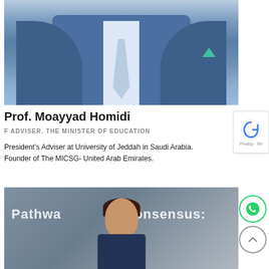[Figure (photo): Photo of Prof. Moayyad Homidi — a man in a blue suit with a light blue tie and teal pocket square, partial torso view]
Prof. Moayyad Homidi
F ADVISER. THE MINISTER OF EDUCATION
President's Adviser at University of Jeddah in Saudi Arabia.
Founder of The MICSG- United Arab Emirates.
[Figure (photo): Photo of a woman at an event with text overlay reading 'Pathways Consensus:' in white lettering on a grey-blue background]